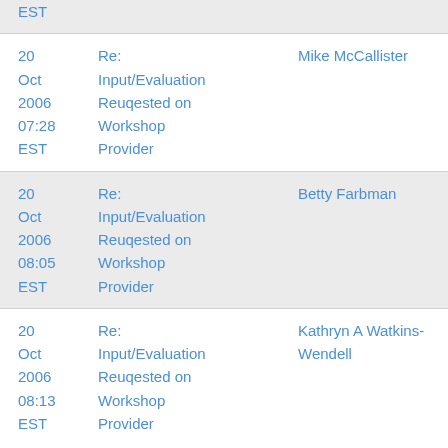| Date | Subject | From |
| --- | --- | --- |
| 20 Oct 2006 07:28 EST | Re: Input/Evaluation Reuqested on Workshop Provider | Mike McCallister |
| 20 Oct 2006 08:05 EST | Re: Input/Evaluation Reuqested on Workshop Provider | Betty Farbman |
| 20 Oct 2006 08:13 EST | Re: Input/Evaluation Reuqested on Workshop Provider | Kathryn A Watkins-Wendell |